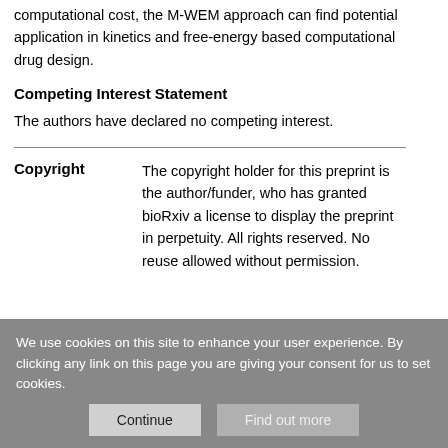computational cost, the M-WEM approach can find potential application in kinetics and free-energy based computational drug design.
Competing Interest Statement
The authors have declared no competing interest.
| Copyright |  |
| --- | --- |
| Copyright | The copyright holder for this preprint is the author/funder, who has granted bioRxiv a license to display the preprint in perpetuity. All rights reserved. No reuse allowed without permission. |
We use cookies on this site to enhance your user experience. By clicking any link on this page you are giving your consent for us to set cookies.